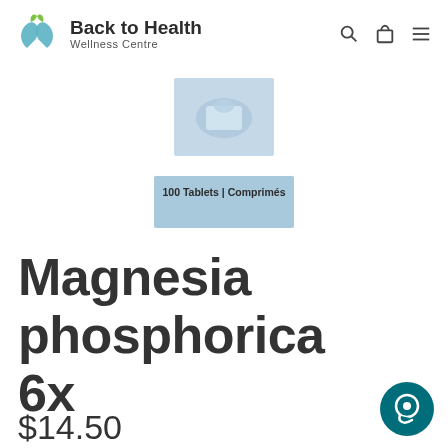Back to Health Wellness Centre
[Figure (photo): Product packaging image showing a box labeled '100 Tablets | Comprimés' with a light blue and white design]
Magnesia phosphorica 6x
$14.50